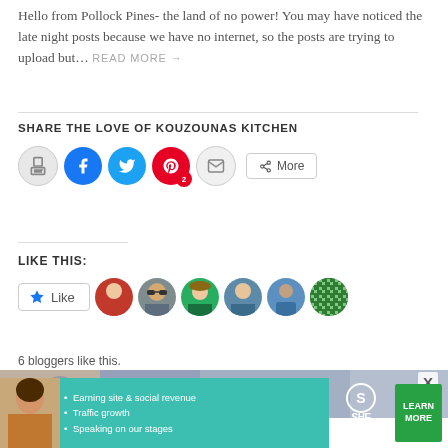Hello from Pollock Pines- the land of no power! You may have noticed the late night posts because we have no internet, so the posts are trying to upload but… READ MORE →
SHARE THE LOVE OF KOUZOUNAS KITCHEN
[Figure (infographic): Social share buttons: print, Facebook, Twitter, Pinterest (2), email, More]
LIKE THIS:
[Figure (infographic): Like button and 6 blogger avatar thumbnails]
6 bloggers like this.
[Figure (photo): Decorative blue and white patterned background strip]
[Figure (infographic): SHE Partner Network advertisement banner with person photo, bullet points: Earning site & social revenue, Traffic growth, Speaking on our stages, BECOME A MEMBER, LEARN MORE button]